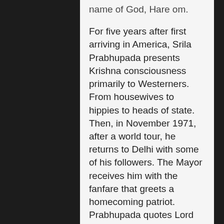For five years after first arriving in America, Srila Prabhupada presents Krishna consciousness primarily to Westerners. From housewives to hippies to heads of state. Then, in November 1971, after a world tour, he returns to Delhi with some of his followers. The Mayor receives him with the fanfare that greets a homecoming patriot. Prabhupada quotes Lord Caitanya: “It is the duty of those born in India to benefit others by spreading Krishna consciousness. This is India’s greatest glory. Her unique gift to the world.”
Thirty thousand Indians gather nightly at the Delhi fair grounds to see the Western devotees and hear Prabhupada speak.
Prabhupada… “To bring about this change…